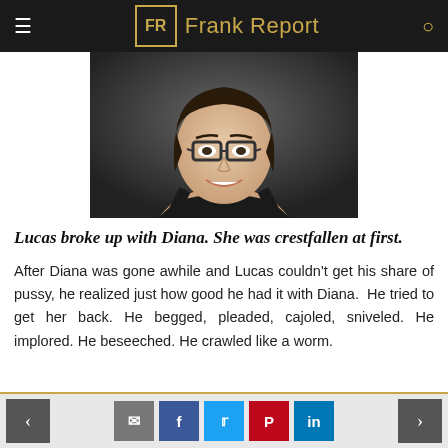Frank Report
[Figure (photo): Portrait photo of a young woman with short dark hair and glasses, wearing a black sleeveless top, smiling against a dark background.]
Lucas broke up with Diana. She was crestfallen at first.
After Diana was gone awhile and Lucas couldn't get his share of pussy, he realized just how good he had it with Diana. He tried to get her back. He begged, pleaded, cajoled, sniveled. He implored. He beseeched. He crawled like a worm.
Navigation and social sharing buttons